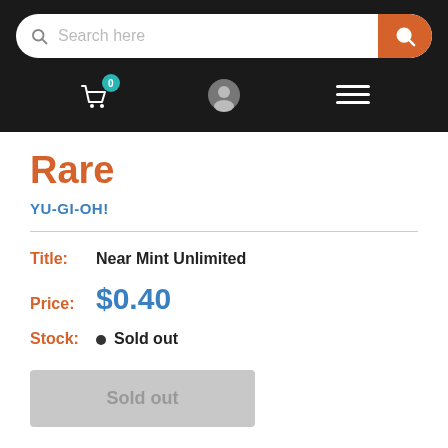Search here
Rare
YU-GI-OH!
Title: Near Mint Unlimited
Price: $0.40
Stock: Sold out
Sold out